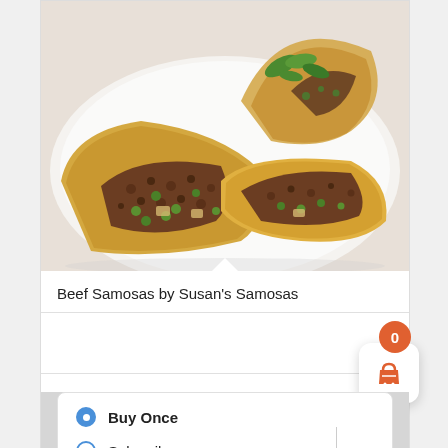[Figure (photo): Photo of beef samosas cut open showing ground beef and pea filling, on a white plate with green herb garnish]
Beef Samosas by Susan's Samosas
[Figure (other): Shopping cart widget with orange badge showing 0 and an orange basket icon on white rounded card]
Buy Once
Subscribe